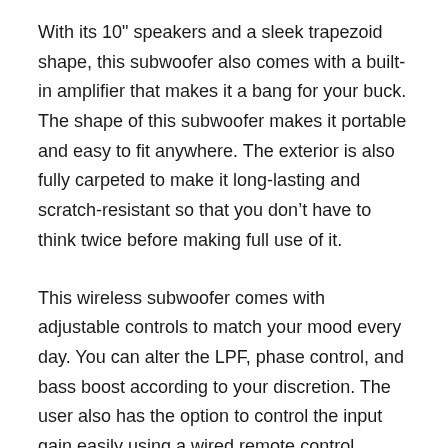With its 10" speakers and a sleek trapezoid shape, this subwoofer also comes with a built-in amplifier that makes it a bang for your buck. The shape of this subwoofer makes it portable and easy to fit anywhere. The exterior is also fully carpeted to make it long-lasting and scratch-resistant so that you don’t have to think twice before making full use of it.
This wireless subwoofer comes with adjustable controls to match your mood every day. You can alter the LPF, phase control, and bass boost according to your discretion. The user also has the option to control the input gain easily using a wired remote control.
Get the Pioneer TS-WX1010A for its high bandwidth